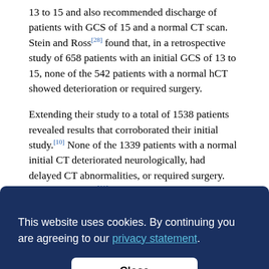13 to 15 and also recommended discharge of patients with GCS of 15 and a normal CT scan. Stein and Ross[28] found that, in a retrospective study of 658 patients with an initial GCS of 13 to 15, none of the 542 patients with a normal hCT showed deterioration or required surgery.
Extending their study to a total of 1538 patients revealed results that corroborated their initial study.[10] None of the 1339 patients with a normal initial CT deteriorated neurologically, had delayed CT abnormalities, or required surgery. Livingston et al.[11] concurred with this approach based on a prospective review of 111 patients. Davis et al., [partial text obscured by cookie banner]
[Figure (screenshot): Cookie consent overlay banner with dark navy background, text 'This website uses cookies. By continuing you are agreeing to our privacy statement.' with a Close button.]
Bl... [64] [partial, obscured at bottom]